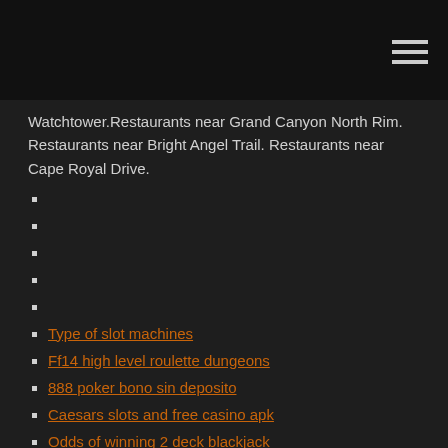Watchtower.Restaurants near Grand Canyon North Rim. Restaurants near Bright Angel Trail. Restaurants near Cape Royal Drive.
Type of slot machines
Ff14 high level roulette dungeons
888 poker bono sin deposito
Caesars slots and free casino apk
Odds of winning 2 deck blackjack
Online casino no deposits